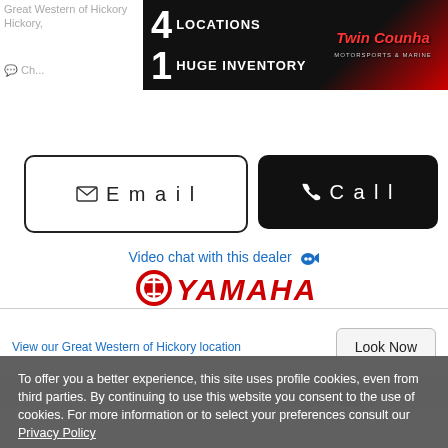Great Western of Hickory
Hickory, ...
[Figure (advertisement): Twin Counha Motorsports & Marine banner ad: '4 LOCATIONS 1 HUGE INVENTORY' in white bold text on black background with red logo]
✉ Email
📞 Call
Video chat with this dealer 💬
[Figure (logo): Yamaha logo in red italic text with Yamaha tuning fork icon]
View our Great Western of Hickory location
Look Now
To offer you a better experience, this site uses profile cookies, even from third parties. By continuing to use this website you consent to the use of cookies. For more information or to select your preferences consult our Privacy Policy
❯ Cookie Settings
✓ OK